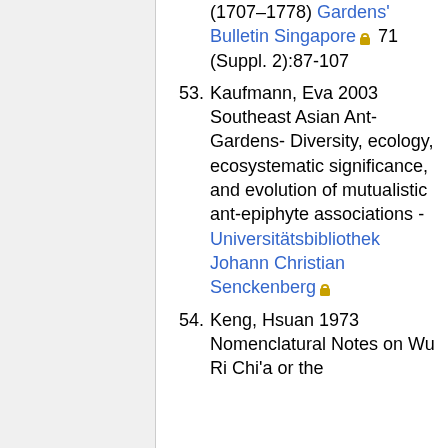(1707–1778) Gardens' Bulletin Singapore [lock] 71 (Suppl. 2):87-107
53. Kaufmann, Eva 2003 Southeast Asian Ant-Gardens- Diversity, ecology, ecosystematic significance, and evolution of mutualistic ant-epiphyte associations - Universitätsbibliothek Johann Christian Senckenberg [lock]
54. Keng, Hsuan 1973 Nomenclatural Notes on Wu Ri Chi'a or the...